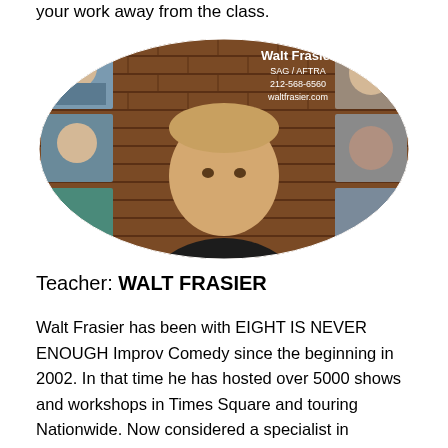your work away from the class.
[Figure (photo): Composite actor headshot for Walt Frasier, SAG/AFTRA, showing a man in a black shirt against a brick wall background, with smaller thumbnail photos around the edges. Text overlay reads: Walt Frasier, SAG / AFTRA, 212-568-6560, waltfrasier.com]
Teacher: WALT FRASIER
Walt Frasier has been with EIGHT IS NEVER ENOUGH Improv Comedy since the beginning in 2002. In that time he has hosted over 5000 shows and workshops in Times Square and touring Nationwide. Now considered a specialist in corporate team building, Walter embraces Psychological Safety and tries to teach the world to smile. At every workshop, Walter gives his students homework